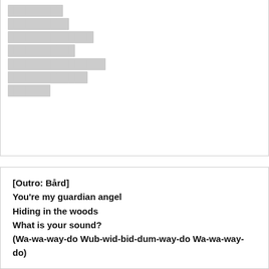[redacted lines in unknown script]
[Outro: Bård]
You're my guardian angel
Hiding in the woods
What is your sound?
(Wa-wa-way-do Wub-wid-bid-dum-way-do Wa-wa-way-do)